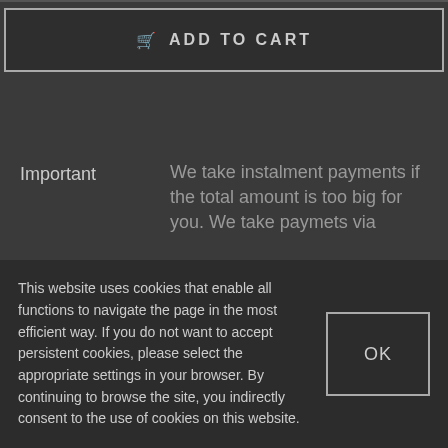ADD TO CART
Important
We take instalment payments if the total amount is too big for you. We take paymets via
This website uses cookies that enable all functions to navigate the page in the most efficient way. If you do not want to accept persistent cookies, please select the appropriate settings in your browser. By continuing to browse the site, you indirectly consent to the use of cookies on this website.
OK